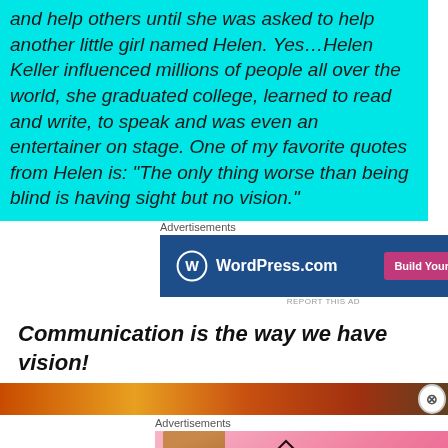and help others until she was asked to help another little girl named Helen. Yes…Helen Keller influenced millions of people all over the world, she graduated college, learned to read and write, to speak and was even an entertainer on stage. One of my favorite quotes from Helen is: “The only thing worse than being blind is having sight but no vision.”
Advertisements
[Figure (screenshot): WordPress.com advertisement banner with dark blue background, WordPress logo on left, and pink 'Build Your Website' button on the right]
REPORT THIS AD
Communication is the way we have vision!
[Figure (photo): Partial photo strip showing warm orange and brown tones, possibly a person or nature scene]
Advertisements
[Figure (screenshot): Victoria's Secret advertisement with pink gradient background, model face on left, VS logo and VICTORIA'S SECRET text, SHOP THE COLLECTION copy, and SHOP NOW white button]